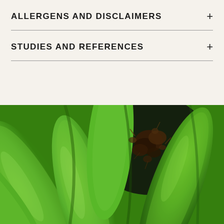ALLERGENS AND DISCLAIMERS
STUDIES AND REFERENCES
[Figure (photo): Close-up photograph of a bunch of green unripe bananas, filling the entire lower portion of the image. The bananas are vibrant green with brown/black stem tips visible.]